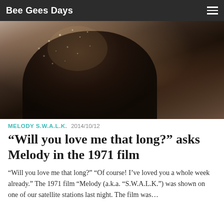Bee Gees Days
[Figure (photo): Dark cinematic film still showing silhouetted figures, likely from the 1971 film Melody (S.W.A.L.K.), with warm backlighting and snow or light particles visible]
MELODY S.W.A.L.K.  2014/10/12
“Will you love me that long?” asks Melody in the 1971 film
“Will you love me that long?” “Of course! I’ve loved you a whole week already.” The 1971 film “Melody (a.k.a. “S.W.A.L.K.”) was shown on one of our satellite stations last night. The film was…